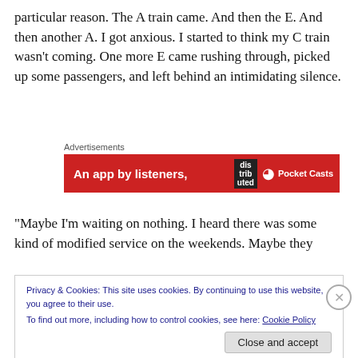particular reason. The A train came. And then the E. And then another A. I got anxious. I started to think my C train wasn't coming. One more E came rushing through, picked up some passengers, and left behind an intimidating silence.
[Figure (screenshot): Advertisement banner: red background with text 'An app by listeners,' and 'dis-trib-uted' label and Pocket Casts logo on the right.]
“Maybe I’m waiting on nothing. I heard there was some kind of modified service on the weekends. Maybe they
Privacy & Cookies: This site uses cookies. By continuing to use this website, you agree to their use.
To find out more, including how to control cookies, see here: Cookie Policy